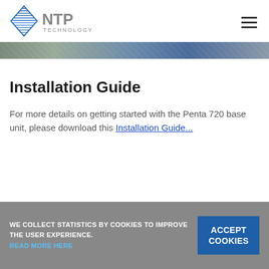NTP Technology
[Figure (photo): Decorative banner strip with blurred blue/grey tones]
Installation Guide
For more details on getting started with the Penta 720 base unit, please download this Installation Guide...
WE COLLECT STATISTICS BY COOKIES TO IMPROVE THE USER EXPERIENCE. READ MORE HERE   ACCEPT COOKIES